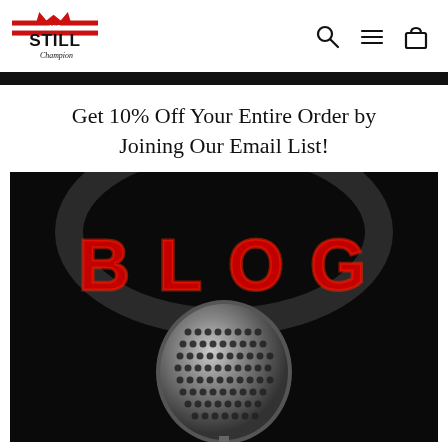And Still Champion — navigation header with logo and icons
Get 10% Off Your Entire Order by Joining Our Email List!
[Figure (photo): Dark background image of a chrome/silver studio microphone with glowing red neon letters spelling BLOG in the background]